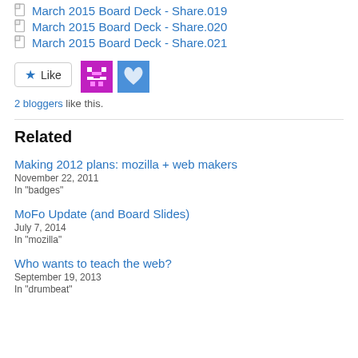March 2015 Board Deck - Share.019
March 2015 Board Deck - Share.020
March 2015 Board Deck - Share.021
2 bloggers like this.
Related
Making 2012 plans: mozilla + web makers
November 22, 2011
In "badges"
MoFo Update (and Board Slides)
July 7, 2014
In "mozilla"
Who wants to teach the web?
September 19, 2013
In "drumbeat"